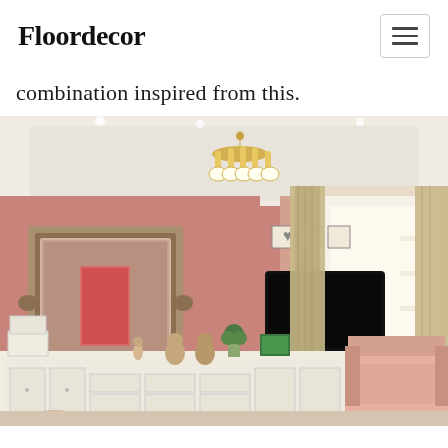Floordecor
combination inspired from this.
[Figure (photo): Interior photo of a pink-themed bedroom/living room with ornate baroque mirror, wall-mounted TV, white desk with drawers, floral curtains, chandelier, and pink armchair with ottoman]